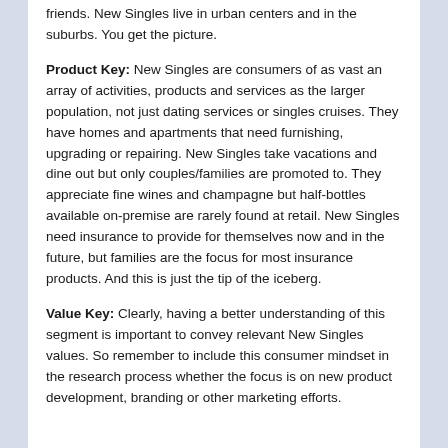friends.  New Singles live in urban centers and in the suburbs.  You get the picture.
Product Key:  New Singles are consumers of as vast an array of activities, products and services as the larger population, not just dating services or singles cruises.  They have homes and apartments that need furnishing, upgrading or repairing.  New Singles take vacations and dine out but only couples/families are promoted to.  They appreciate fine wines and champagne but half-bottles available on-premise are rarely found at retail.  New Singles need insurance to provide for themselves now and in the future, but families are the focus for most insurance products.  And this is just the tip of the iceberg.
Value Key:  Clearly, having a better understanding of this segment is important to convey relevant New Singles values.  So remember to include this consumer mindset in the research process whether the focus is on new product development, branding or other marketing efforts.